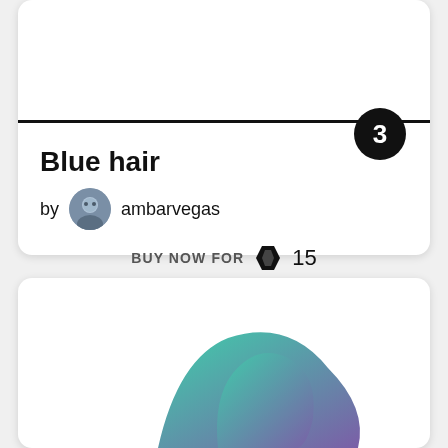Blue hair
by ambarvegas
BUY NOW FOR 15
[Figure (illustration): Partial view of a colorful NFT artwork showing a teal-to-purple gradient organic shape at the bottom of a card]